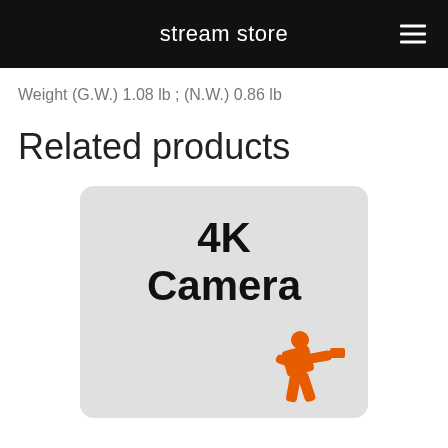stream store
Weight (G.W.) 1.08 lb ; (N.W.) 0.86 lb
Related products
[Figure (illustration): Product card with light grey rounded rectangle background showing '4K Camera' in bold black text and an orange silhouette figure holding a camera at the bottom right.]